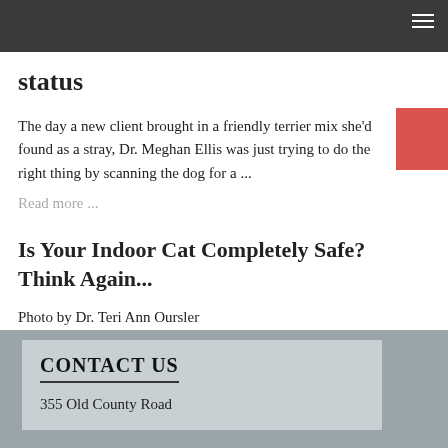status
The day a new client brought in a friendly terrier mix she'd found as a stray, Dr. Meghan Ellis was just trying to do the right thing by scanning the dog for a ...
Read more ...
Is Your Indoor Cat Completely Safe? Think Again...
Photo by Dr. Teri Ann Oursler
Read more ...
CONTACT US
355 Old County Road